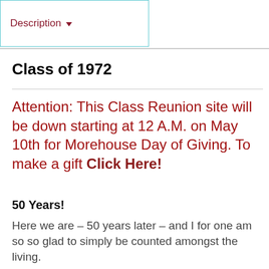Description ▾
Class of 1972
Attention: This Class Reunion site will be down starting at 12 A.M. on May 10th for Morehouse Day of Giving. To make a gift Click Here!
50 Years!
Here we are – 50 years later – and I for one am so so glad to simply be counted amongst the living.
We have always been a class that leads by example. During these challenging times, I want to publicly thank each and every one of you for all the things you have accomplished individually and